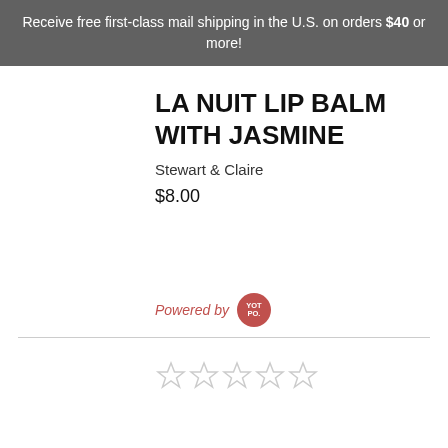Receive free first-class mail shipping in the U.S. on orders $40 or more!
LA NUIT LIP BALM WITH JASMINE
Stewart & Claire
$8.00
Powered by YOTPO.
[Figure (other): Five empty star rating icons]
[Figure (other): Five filled blue star icons at bottom of page]